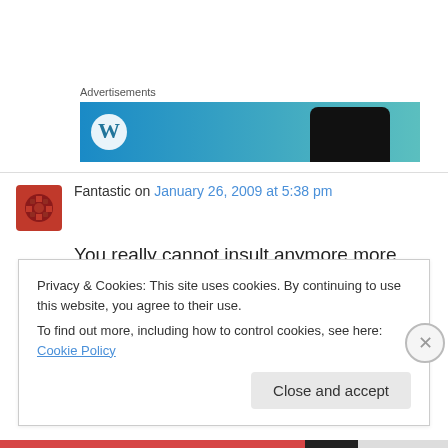[Figure (other): Advertisement banner with blue/teal gradient background, WordPress-style logo on left, phone silhouette on right]
Fantastic on January 26, 2009 at 5:38 pm
You really cannot insult anymore more than by saying “Eat a dick!” We need to bring that one back (opens door for sexual attack responses).
Privacy & Cookies: This site uses cookies. By continuing to use this website, you agree to their use.
To find out more, including how to control cookies, see here: Cookie Policy
Close and accept